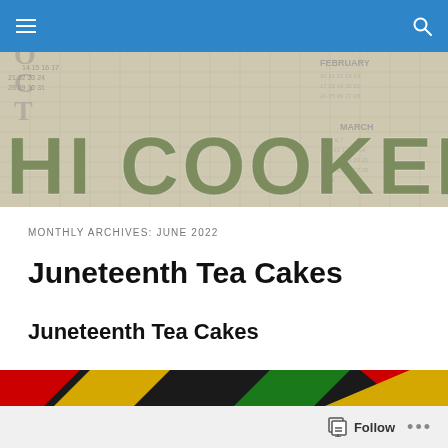HI COOKERY — navigation bar with hamburger menu and search icon
[Figure (illustration): HI COOKERY blog banner with vintage calendar background and large green/olive block letters reading HI COOKERY]
MONTHLY ARCHIVES: JUNE 2022
Juneteenth Tea Cakes
Juneteenth Tea Cakes
[Figure (illustration): Juneteenth flag color bar with diagonal stripes in red, black, gold/yellow, and green]
Follow ...